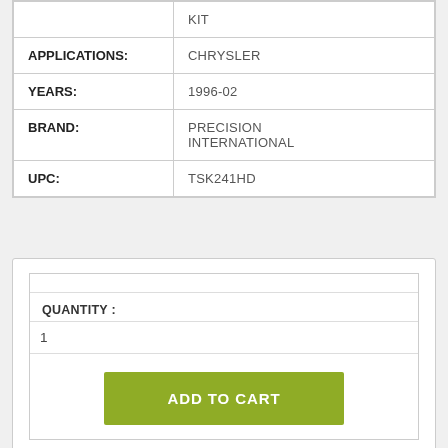|  | KIT |
| APPLICATIONS: | CHRYSLER |
| YEARS: | 1996-02 |
| BRAND: | PRECISION INTERNATIONAL |
| UPC: | TSK241HD |
QUANTITY :
1
ADD TO CART